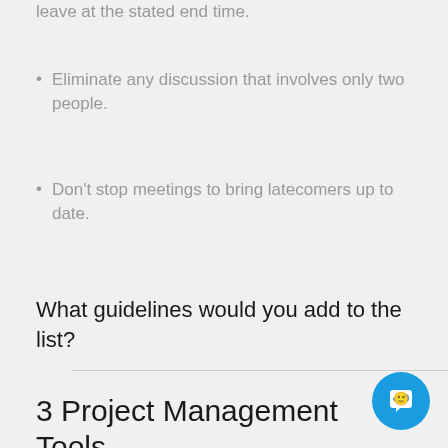leave at the stated end time.
Eliminate any discussion that involves only two people.
Don't stop meetings to bring latecomers up to date.
What guidelines would you add to the list?
3 Project Management Tools